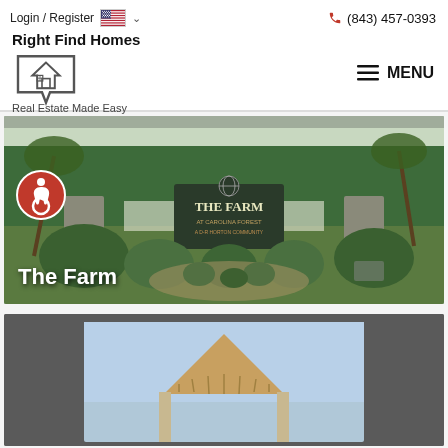Login / Register  (843) 457-0393
Right Find Homes
Real Estate Made Easy
[Figure (photo): Entrance sign for 'The Farm at Carolina Forest' community, with lush green landscaping, palm trees, and pine trees in background. A red accessibility icon badge is overlaid on the lower-left.]
The Farm
[Figure (photo): Partial view of a building exterior with a peaked architectural canopy, shown against a light blue sky background.]